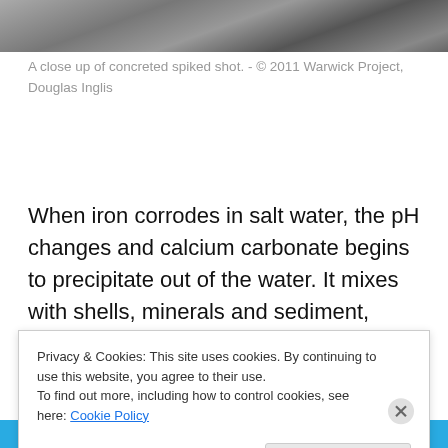[Figure (photo): Close-up black and white photograph of concreted spiked shot, showing textured rocky/mineral surface.]
A close up of concreted spiked shot. - © 2011 Warwick Project, Douglas Inglis
When iron corrodes in salt water, the pH changes and calcium carbonate begins to precipitate out of the water. It mixes with shells, minerals and sediment, forming a hard casing around the metal: this is called a concretion. The
Privacy & Cookies: This site uses cookies. By continuing to use this website, you agree to their use.
To find out more, including how to control cookies, see here: Cookie Policy